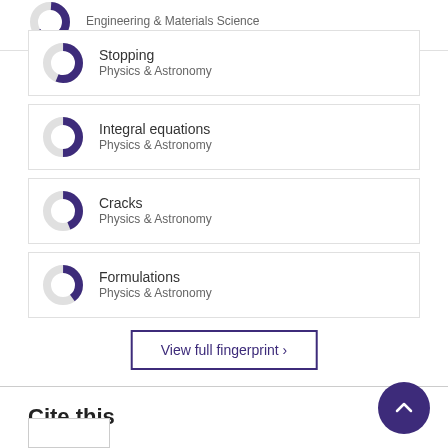Engineering & Materials Science
Stopping
Physics & Astronomy
Integral equations
Physics & Astronomy
Cracks
Physics & Astronomy
Formulations
Physics & Astronomy
View full fingerprint ›
Cite this